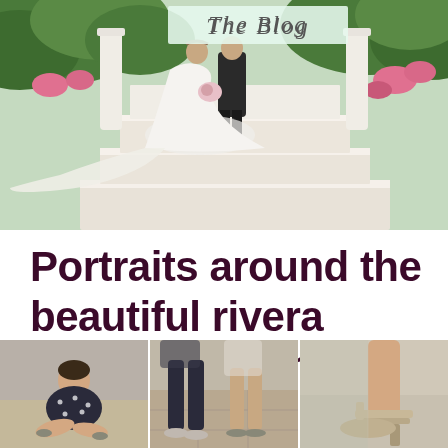The Blog
[Figure (photo): Wedding couple standing at the top of white marble steps in a garden gazebo setting, surrounded by lush greenery and pink flowers. The bride wears a white gown with a flowing train, and the groom is in a dark suit.]
Portraits around the beautiful rivera resort in Orlando FL
[Figure (photo): Three small thumbnail photos at the bottom of the page showing details of a couple at a resort: a woman sitting cross-legged in a polka dot dress, two people's legs and feet on decorative pavement, and a close-up of a woman's heeled sandal.]